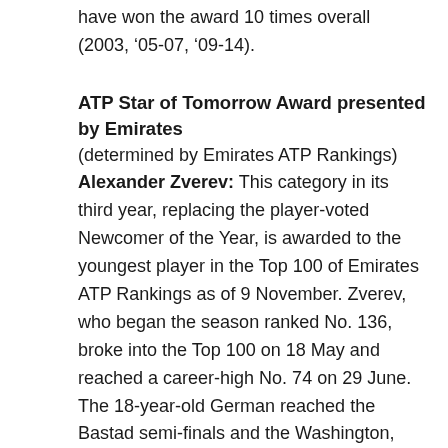have won the award 10 times overall (2003, ’05-07, ’09-14).
ATP Star of Tomorrow Award presented by Emirates
(determined by Emirates ATP Rankings)
Alexander Zverev: This category in its third year, replacing the player-voted Newcomer of the Year, is awarded to the youngest player in the Top 100 of Emirates ATP Rankings as of 9 November. Zverev, who began the season ranked No. 136, broke into the Top 100 on 18 May and reached a career-high No. 74 on 29 June. The 18-year-old German reached the Bastad semi-finals and the Washington, D.C. quarter-finals. He also won one ATP Challenger Tour title at Heilbronn.
Most Improved Player of the Year
(voted by ATP players)
Hyeon Chung: The 19-year-old Korean climbed more than 120 places from No. 173 in the Emirates ATP Rankings at the start of the year, winning four titles on the ATP Challenger Tour in 2015. He also reached the Shenzhen